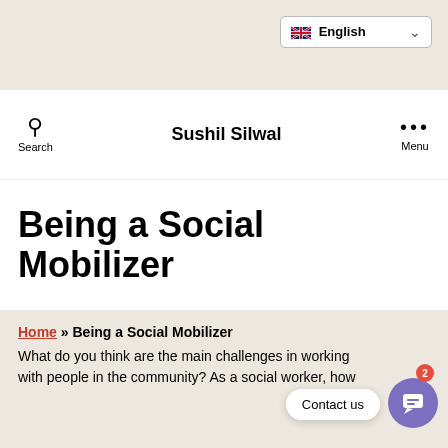English (language selector)
Sushil Silwal | Search | Menu
Being a Social Mobilizer
Home » Being a Social Mobilizer
What do you think are the main challenges in working with people in the community? As a social worker, how